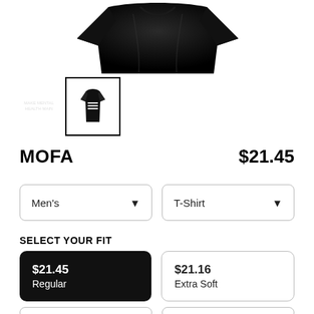[Figure (photo): Black folded t-shirt product image shown from the back/top at the top of the page]
[Figure (photo): Small thumbnail of a black t-shirt with text print, shown in a selected border box]
MOFA
$21.45
Men's
T-Shirt
SELECT YOUR FIT
$21.45
Regular
$21.16
Extra Soft